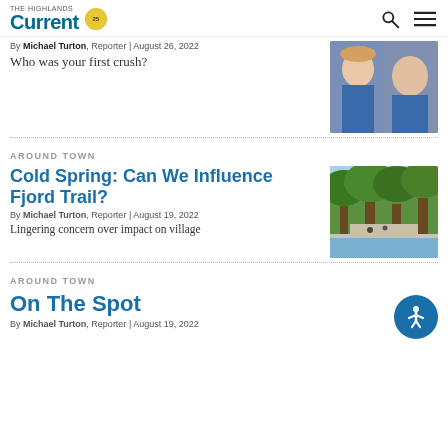The Highlands Current
By Michael Turton, Reporter | August 26, 2022
Who was your first crush?
AROUND TOWN
Cold Spring: Can We Influence Fjord Trail?
By Michael Turton, Reporter | August 19, 2022
Lingering concern over impact on village
[Figure (photo): Photo of green trees and park near waterfront]
AROUND TOWN
On The Spot
By Michael Turton, Reporter | August 19, 2022